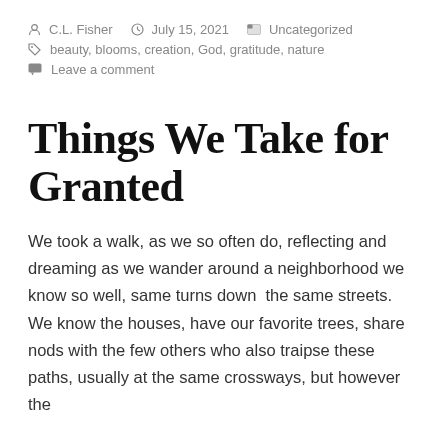C.L. Fisher   July 15, 2021   Uncategorized
beauty, blooms, creation, God, gratitude, nature
Leave a comment
Things We Take for Granted
We took a walk, as we so often do, reflecting and dreaming as we wander around a neighborhood we know so well, same turns down  the same streets. We know the houses, have our favorite trees, share nods with the few others who also traipse these paths, usually at the same crossways, but however the